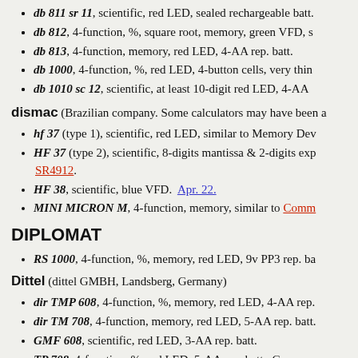db 811 sr 11, scientific, red LED, sealed rechargeable batt.
db 812, 4-function, %, square root, memory, green VFD, s
db 813, 4-function, memory, red LED, 4-AA rep. batt.
db 1000, 4-function, %, red LED, 4-button cells, very thin
db 1010 sc 12, scientific, at least 10-digit red LED, 4-AA
dismac (Brazilian company. Some calculators may have been a
hf 37 (type 1), scientific, red LED, similar to Memory Dev
HF 37 (type 2), scientific, 8-digits mantissa & 2-digits exp SR4912.
HF 38, scientific, blue VFD.  Apr. 22.
MINI MICRON M, 4-function, memory, similar to Comm
DIPLOMAT
RS 1000, 4-function, %, memory, red LED, 9v PP3 rep. ba
Dittel (dittel GMBH, Landsberg, Germany)
dir TMP 608, 4-function, %, memory, red LED, 4-AA rep.
dir TM 708, 4-function, memory, red LED, 5-AA rep. batt.
GMF 608, scientific, red LED, 3-AA rep. batt.
TP 708, 4-function, %, red LED, 5-AA rep. batt., Germany
TMN, 4-function, %, memory, red LED, 3-TT...